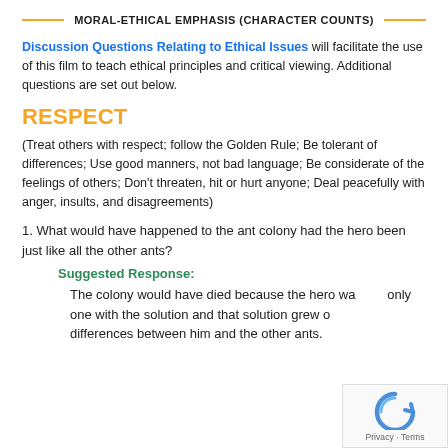MORAL-ETHICAL EMPHASIS (CHARACTER COUNTS)
Discussion Questions Relating to Ethical Issues will facilitate the use of this film to teach ethical principles and critical viewing. Additional questions are set out below.
RESPECT
(Treat others with respect; follow the Golden Rule; Be tolerant of differences; Use good manners, not bad language; Be considerate of the feelings of others; Don't threaten, hit or hurt anyone; Deal peacefully with anger, insults, and disagreements)
1. What would have happened to the ant colony had the hero been just like all the other ants?
Suggested Response:
The colony would have died because the hero was the only one with the solution and that solution grew out of differences between him and the other ants.